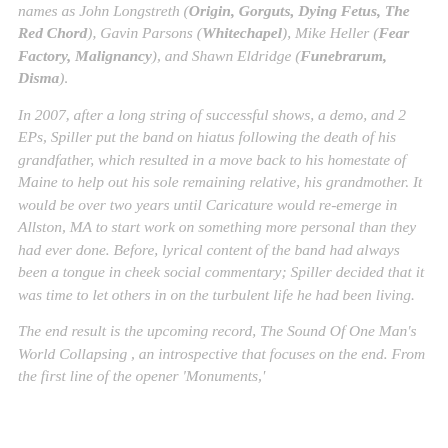names as John Longstreth (Origin, Gorguts, Dying Fetus, The Red Chord), Gavin Parsons (Whitechapel), Mike Heller (Fear Factory, Malignancy), and Shawn Eldridge (Funebrarum, Disma).
In 2007, after a long string of successful shows, a demo, and 2 EPs, Spiller put the band on hiatus following the death of his grandfather, which resulted in a move back to his homestate of Maine to help out his sole remaining relative, his grandmother. It would be over two years until Caricature would re-emerge in Allston, MA to start work on something more personal than they had ever done. Before, lyrical content of the band had always been a tongue in cheek social commentary; Spiller decided that it was time to let others in on the turbulent life he had been living.
The end result is the upcoming record, The Sound Of One Man's World Collapsing, an introspective that focuses on the end. From the first line of the opener 'Monuments,'